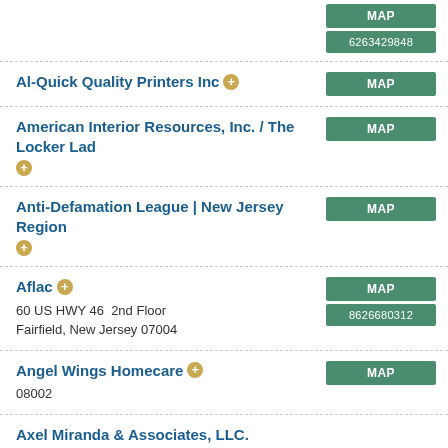(partial entry at top) MAP | 6263429848
Al-Quick Quality Printers Inc | MAP
American Interior Resources, Inc. / The Locker Lad | MAP
Anti-Defamation League | New Jersey Region | MAP
Aflac | 60 US HWY 46  2nd Floor, Fairfield, New Jersey 07004 | MAP | 8626680312
Angel Wings Homecare | 08002 | MAP
Axel Miranda & Associates, LLC.